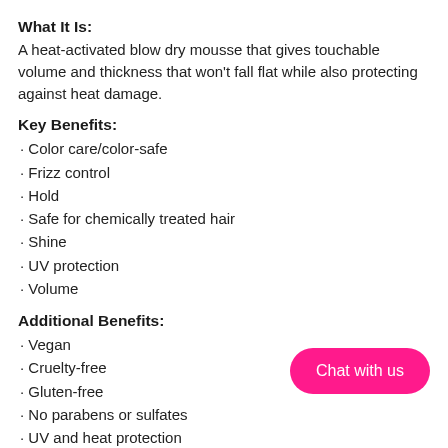What It Is:
A heat-activated blow dry mousse that gives touchable volume and thickness that won't fall flat while also protecting against heat damage.
Key Benefits:
Color care/color-safe
Frizz control
Hold
Safe for chemically treated hair
Shine
UV protection
Volume
Additional Benefits:
Vegan
Cruelty-free
Gluten-free
No parabens or sulfates
UV and heat protection
Conditioning and color-safe
Chat with us